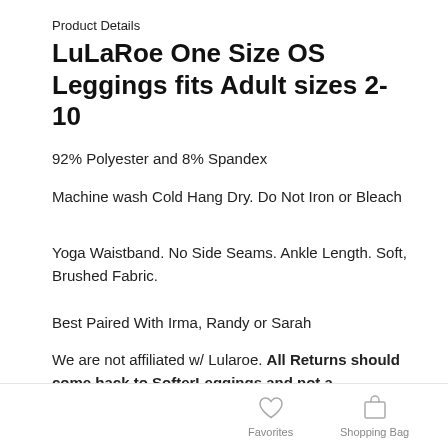Product Details
LuLaRoe One Size OS Leggings fits Adult sizes 2-10
92% Polyester and 8% Spandex
Machine wash Cold Hang Dry. Do Not Iron or Bleach
Yoga Waistband. No Side Seams. Ankle Length. Soft, Brushed Fabric.
Best Paired With Irma, Randy or Sarah
We are not affiliated w/ Lularoe. All Returns should come back to SofterLeggings and not a consultant.
Favorites   Shopping Bag